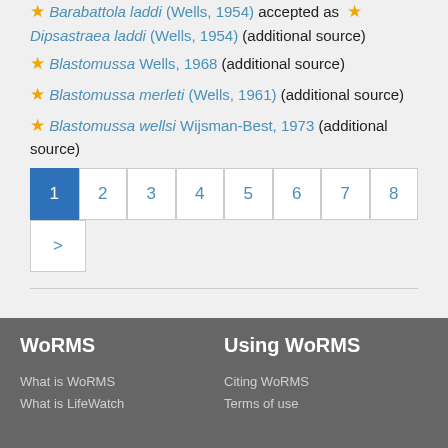Barabattola laddi (Wells, 1954) accepted as ★ Dipsastraea laddi (Wells, 1954) (additional source)
★ Blastomussa Wells, 1968 (additional source)
★ Blastomussa merleti (Wells, 1961) (additional source)
★ Blastomussa wellsi Wijsman-Best, 1973 (additional source)
Pagination: 1 2 3 4 5 6 7 8 >
WoRMS | Using WoRMS | What is WoRMS | What is LifeWatch | Citing WoRMS | Terms of use